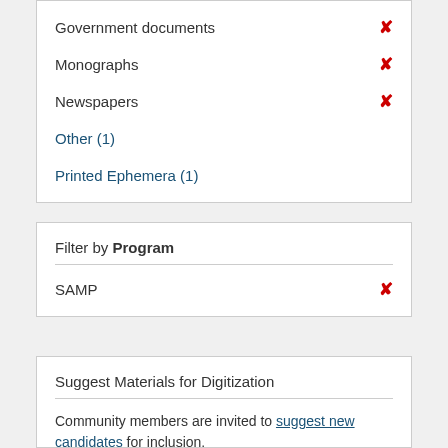Government documents ✗
Monographs ✗
Newspapers ✗
Other (1)
Printed Ephemera (1)
Filter by Program
SAMP ✗
Suggest Materials for Digitization
Community members are invited to suggest new candidates for inclusion.